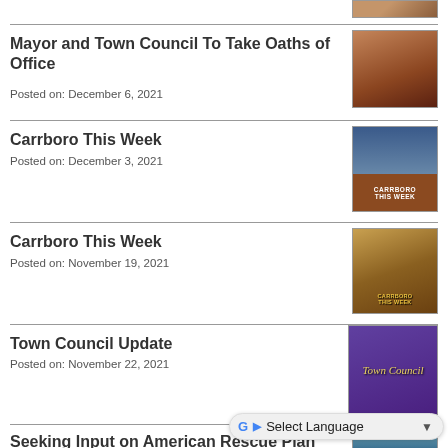[Figure (photo): Partial thumbnail image at top right]
Mayor and Town Council To Take Oaths of Office
Posted on: December 6, 2021
[Figure (photo): Photo of a brick building, Town Hall]
Carrboro This Week
Posted on: December 3, 2021
[Figure (photo): Carrboro This Week thumbnail with brown building]
Carrboro This Week
Posted on: November 19, 2021
[Figure (photo): Carrboro This Week autumn scene thumbnail]
Town Council Update
Posted on: November 22, 2021
[Figure (photo): Purple Town Council banner photo]
Seeking Input on American Rescue Plan Act (ARPA) Funding
Posted on: November 22, 2021
[Figure (photo): Partial thumbnail at bottom right]